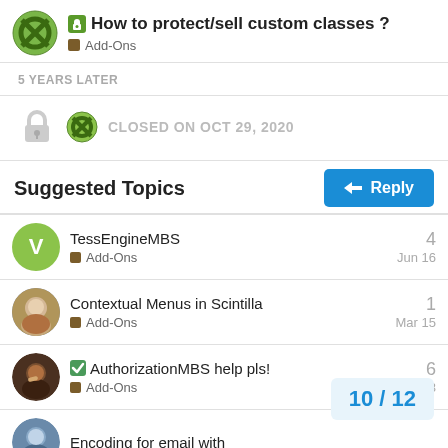How to protect/sell custom classes ? — Add-Ons
5 YEARS LATER
CLOSED ON OCT 29, 2020
Suggested Topics
TessEngineMBS — Add-Ons — 4 — Jun 16
Contextual Menus in Scintilla — Add-Ons — 1 — Mar 15
AuthorizationMBS help pls! — Add-Ons — 6 — Apr 18
Encoding for email with
10 / 12